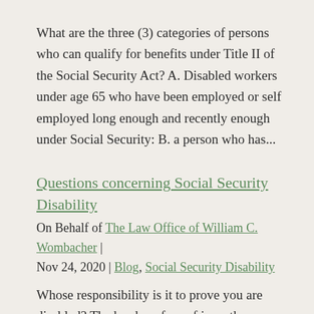What are the three (3) categories of persons who can qualify for benefits under Title II of the Social Security Act? A. Disabled workers under age 65 who have been employed or self employed long enough and recently enough under Social Security: B. a person who has...
Questions concerning Social Security Disability
On Behalf of The Law Office of William C. Wombacher | Nov 24, 2020 | Blog, Social Security Disability
Whose responsibility is it to prove you are disabled? The burden of proof is on the person applying for benefits. SSA will consider all the information in your file but if you have not submitted the evidence that believe supports your claim SSA will not consider it....